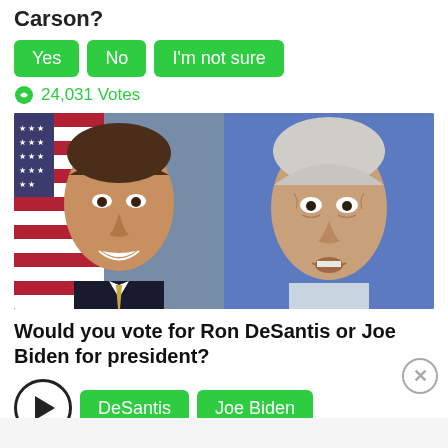Carson?
Yes
No
I'm not sure
24,031 Votes
[Figure (photo): Side-by-side photos of Ron DeSantis (left, with American flag background) and Joe Biden (right, with blue background)]
Would you vote for Ron DeSantis or Joe Biden for president?
DeSantis
Joe Biden
489,706 Votes